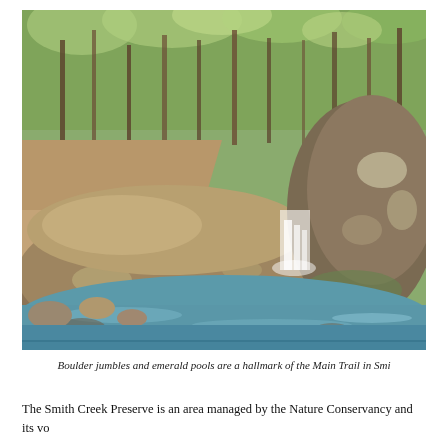[Figure (photo): Outdoor nature photograph showing large granite boulders beside a creek with clear blue-green water forming a small waterfall between the rocks, surrounded by a forest of trees with dappled sunlight filtering through the leaves.]
Boulder jumbles and emerald pools are a hallmark of the Main Trail in Smi...
The Smith Creek Preserve is an area managed by the Nature Conservancy and its vo...